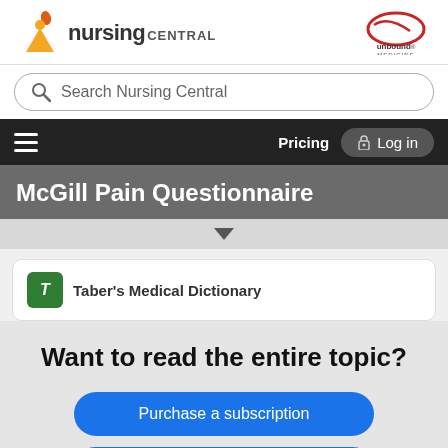[Figure (logo): Nursing Central logo with orange figure/flame icon and 'nursing CENTRAL' text, plus Unbound Medicine logo on the right]
Search Nursing Central
Pricing  Log in
McGill Pain Questionnaire
Taber's Medical Dictionary
Want to read the entire topic?
Purchase a subscription
I'm already a subscriber
Browse sample topics